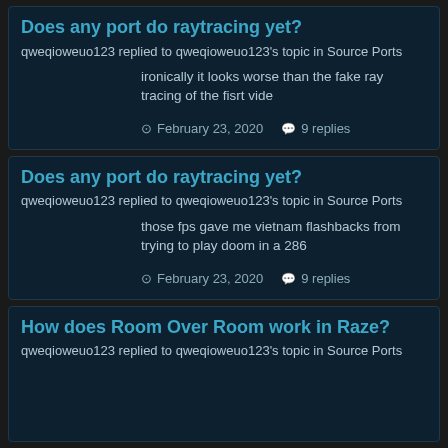Does any port do raytracing yet?
qweqioweuo123 replied to qweqioweuo123's topic in Source Ports
ironically it looks worse than the fake ray tracing of the fisrt vide
February 23, 2020   9 replies
Does any port do raytracing yet?
qweqioweuo123 replied to qweqioweuo123's topic in Source Ports
those fps gave me vietnam flashbacks from trying to play doom in a 286
February 23, 2020   9 replies
How does Room Over Room work in Raze?
qweqioweuo123 replied to qweqioweuo123's topic in Source Ports